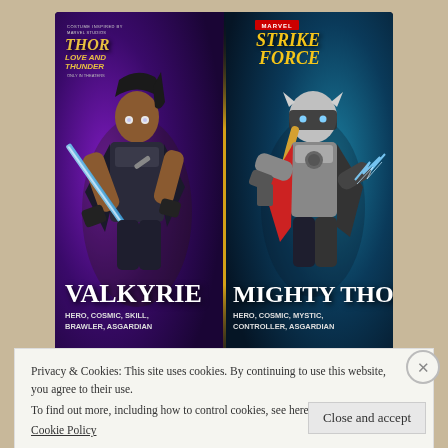[Figure (screenshot): Marvel Strike Force game advertisement showing two characters: Valkyrie (Hero, Cosmic, Skill, Brawler, Asgardian - 6 stars) and Mighty Thor (Hero, Cosmic, Mystic, Controller, Asgardian - 7 stars). Costumes inspired by Marvel's Thor Love and Thunder film. Purple and teal game background with star ratings.]
iPhone owners are obsessed with this
Privacy & Cookies: This site uses cookies. By continuing to use this website, you agree to their use.
To find out more, including how to control cookies, see here:
Cookie Policy
Close and accept